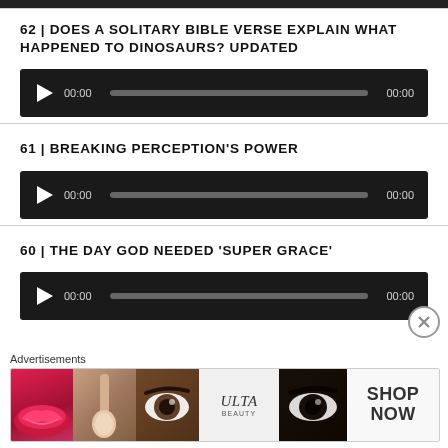62 | DOES A SOLITARY BIBLE VERSE EXPLAIN WHAT HAPPENED TO DINOSAURS? UPDATED
[Figure (other): Audio player with play button, time display 00:00, progress bar, and end time 00:00]
61 | BREAKING PERCEPTION’S POWER
[Figure (other): Audio player with play button, time display 00:00, progress bar, and end time 00:00]
60 | THE DAY GOD NEEDED ‘SUPER GRACE’
[Figure (other): Audio player with play button, time display 00:00, progress bar, and end time 00:00]
Advertisements
[Figure (photo): ULTA beauty advertisement banner showing makeup images and SHOP NOW text]